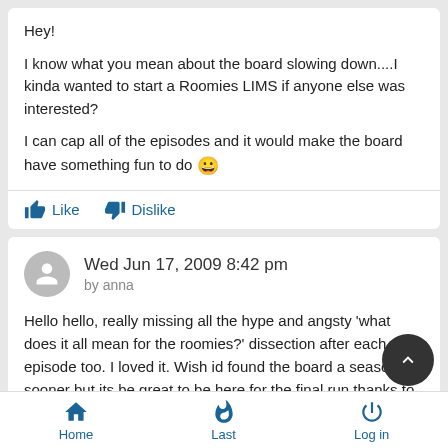Hey!

I know what you mean about the board slowing down....I kinda wanted to start a Roomies LIMS if anyone else was interested?

I can cap all of the episodes and it would make the board have something fun to do 😀
Wed Jun 17, 2009 8:42 pm
by anna
Hello hello, really missing all the hype and angsty 'what does it all mean for the roomies?' dissection after each episode too. I loved it. Wish id found the board a season sooner but its be great to be here for the final run thanks to all of yous.
Home  Last  Log in